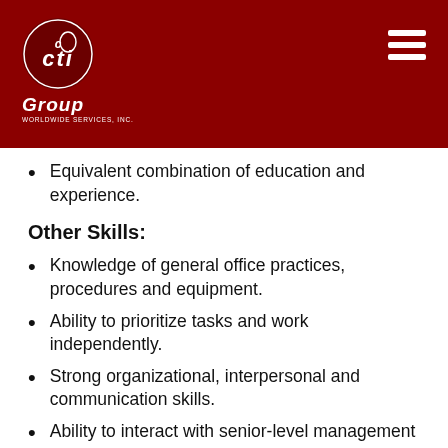[Figure (logo): CTI Group Worldwide Services, Inc. logo — circular emblem with 'cti' in white on dark red background, with 'Group' in white italic below and 'Worldwide Services, Inc.' in small white text underneath. Menu hamburger icon (three white horizontal lines) in top right corner.]
Equivalent combination of education and experience.
Other Skills:
Knowledge of general office practices, procedures and equipment.
Ability to prioritize tasks and work independently.
Strong organizational, interpersonal and communication skills.
Ability to interact with senior-level management and owner representatives.
Math Ability: